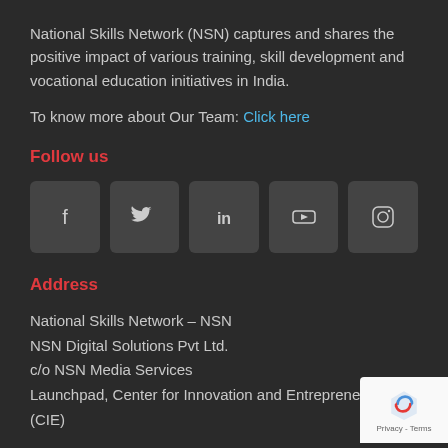National Skills Network (NSN) captures and shares the positive impact of various training, skill development and vocational education initiatives in India.
To know more about Our Team: Click here
Follow us
[Figure (other): Social media icons: Facebook, Twitter, LinkedIn, YouTube, Instagram]
Address
National Skills Network – NSN
NSN Digital Solutions Pvt Ltd.
c/o NSN Media Services
Launchpad, Center for Innovation and Entrepreneurship (CIE)